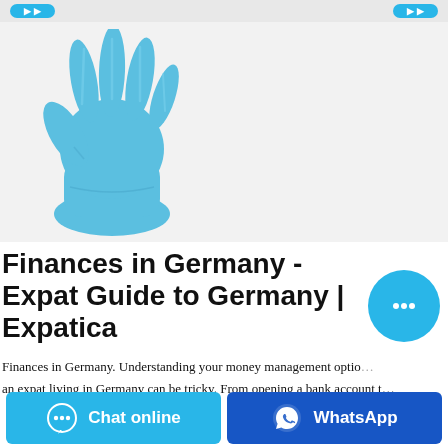[Figure (photo): Blue nitrile medical/examination glove on a light grey background, shown with fingers spread upward and slightly to the right.]
Finances in Germany - Expat Guide to Germany | Expatica
Finances in Germany. Understanding your money management options as an expat living in Germany can be tricky. From opening a bank account t…